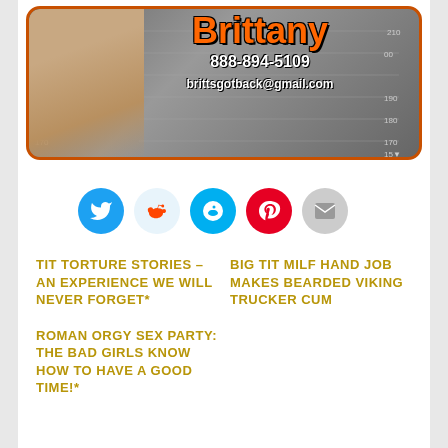[Figure (photo): Advertisement banner for 'Brittany' showing a woman, phone number 888-894-5109 and email brittsgotback@gmail.com, with orange and black branding and a ruler/scale background]
[Figure (infographic): Social sharing buttons row: Twitter (blue), Reddit (light blue), Skype (blue), Pinterest (red), Email (gray)]
TIT TORTURE STORIES – AN EXPERIENCE WE WILL NEVER FORGET*
BIG TIT MILF HAND JOB MAKES BEARDED VIKING TRUCKER CUM
ROMAN ORGY SEX PARTY: THE BAD GIRLS KNOW HOW TO HAVE A GOOD TIME!*